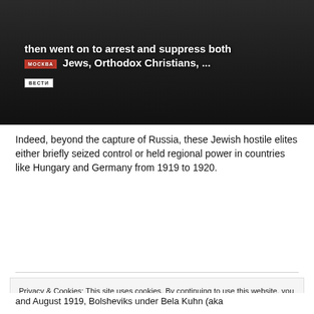[Figure (screenshot): Video screenshot from Russian news channel Vesti showing a man in a dark suit. Subtitle text reads: 'then went on to arrest and suppress both Jews, Orthodox Christians, ...' with МОСКВА and ВЕСТИ channel badges visible.]
Indeed, beyond the capture of Russia, these Jewish hostile elites either briefly seized control or held regional power in countries like Hungary and Germany from 1919 to 1920.
Privacy & Cookies: This site uses cookies. By continuing to use this website, you agree to their use.
To find out more, including how to control cookies, see here: Cookie Policy
and August 1919, Bolsheviks under Bela Kuhn (aka